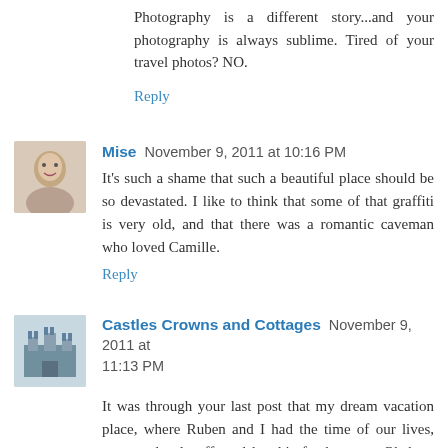Photography is a different story...and your photography is always sublime. Tired of your travel photos? NO.
Reply
Mise  November 9, 2011 at 10:16 PM
It's such a shame that such a beautiful place should be so devastated. I like to think that some of that graffiti is very old, and that there was a romantic caveman who loved Camille.
Reply
Castles Crowns and Cottages  November 9, 2011 at 11:13 PM
It was through your last post that my dream vacation place, where Ruben and I had the time of our lives, was so deeply affected by this freak storm. Oh how that place brings back incredible memories. While there, we were watching these crazy American college kids diving off the cliffs. WHAT A BLAST!